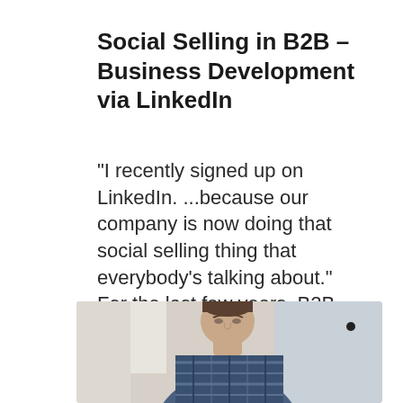Social Selling in B2B – Business Development via LinkedIn
"I recently signed up on LinkedIn. ...because our company is now doing that social selling thing that everybody's talking about." For the last few years, B2B social selling has been...
[Figure (photo): A man in a plaid/flannel shirt looking downward, photographed from the chest up, with a blurred background. Appears to be in an office or home setting.]